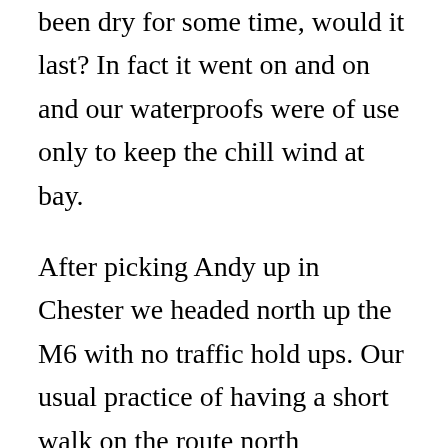been dry for some time, would it last? In fact it went on and on and our waterproofs were of use only to keep the chill wind at bay.
After picking Andy up in Chester we headed north up the M6 with no traffic hold ups. Our usual practice of having a short walk on the route north continued and we turned off at junction 36 with an objective to climb the limestone outcrop of Holmepark Fell. The limited parking near Holme Park Farm where we had planned to take the marked path was full and so we nearly gave it up as a bad job. However as we returned a parking spot was found by Dykes Bridge and another path by Townend Farm. A close look at